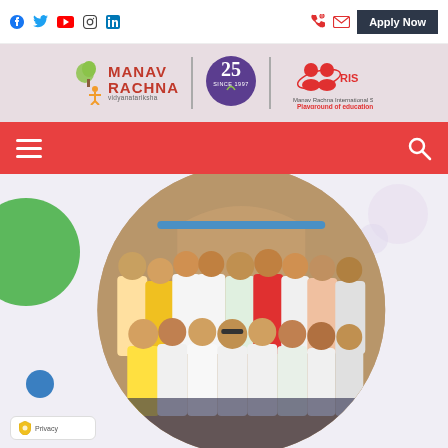Social media icons: Facebook, Twitter, YouTube, Instagram, LinkedIn | Phone icon | Mail icon | Apply Now button
[Figure (logo): Manav Rachna Vidyanatariksha logo with tree and child figure, 25th anniversary circle logo, MRIS Manav Rachna International School Playground of Education logo]
[Figure (screenshot): Red navigation bar with hamburger menu icon on the left and search icon on the right]
[Figure (photo): Group of school students in uniforms (white, yellow, green, red colors) posing together near an archway, displayed in a circular crop with a green decorative circle on the left]